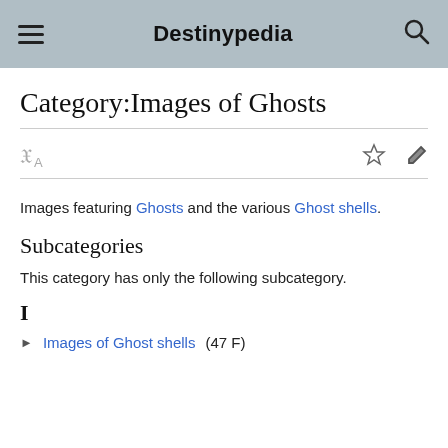Destinypedia
Category:Images of Ghosts
Images featuring Ghosts and the various Ghost shells.
Subcategories
This category has only the following subcategory.
I
Images of Ghost shells (47 F)